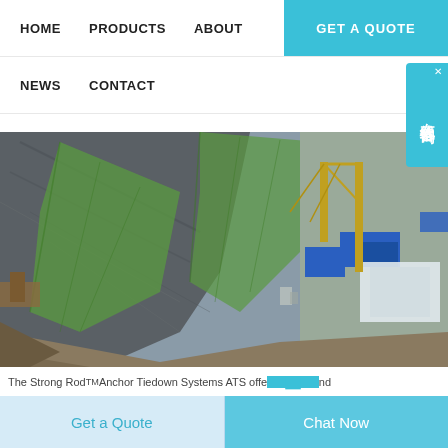HOME   PRODUCTS   ABOUT   GET A QUOTE
NEWS   CONTACT
[Figure (photo): Aerial view of a large construction site showing an excavation with green safety netting on rock slopes, cranes, blue shipping containers, and construction equipment.]
The Strong Rod TM Anchor Tiedown Systems ATS offe... nd
Get a Quote   Chat Now